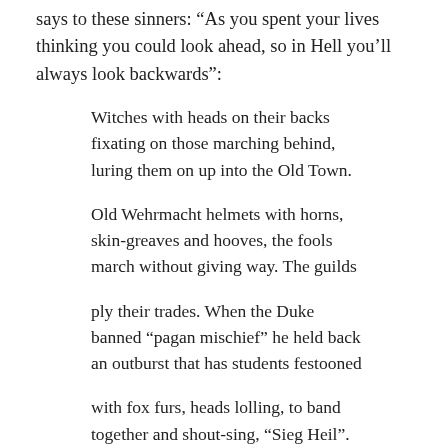says to these sinners: “As you spent your lives thinking you could look ahead, so in Hell you’ll always look backwards”:
Witches with heads on their backs
fixating on those marching behind,
luring them on up into the Old Town.
Old Wehrmacht helmets with horns,
skin-greaves and hooves, the fools
march without giving way. The guilds
ply their trades. When the Duke
banned “pagan mischief” he held back
an outburst that has students festooned
with fox furs, heads lolling, to band
together and shout-sing, “Sieg Heil”.
That’s what’s frightening. Not the witches.